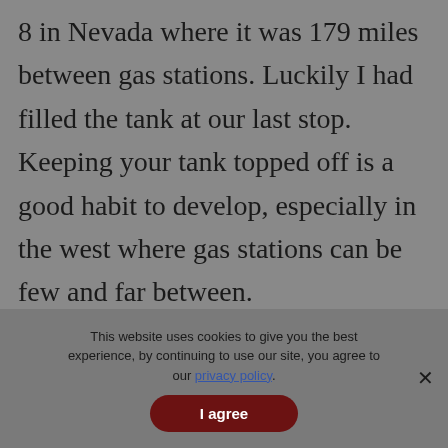8 in Nevada where it was 179 miles between gas stations. Luckily I had filled the tank at our last stop. Keeping your tank topped off is a good habit to develop, especially in the west where gas stations can be few and far between.
This website uses cookies to give you the best experience, by continuing to use our site, you agree to our privacy policy.